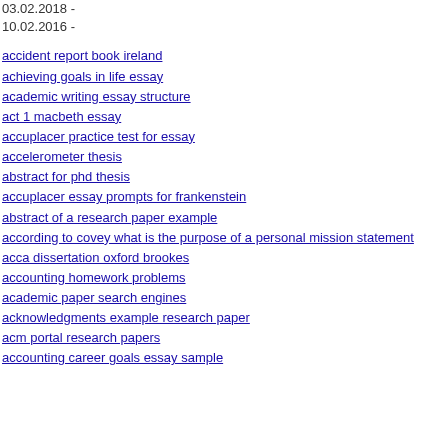03.02.2018 -
10.02.2016 -
accident report book ireland
achieving goals in life essay
academic writing essay structure
act 1 macbeth essay
accuplacer practice test for essay
accelerometer thesis
abstract for phd thesis
accuplacer essay prompts for frankenstein
abstract of a research paper example
according to covey what is the purpose of a personal mission statement
acca dissertation oxford brookes
accounting homework problems
academic paper search engines
acknowledgments example research paper
acm portal research papers
accounting career goals essay sample